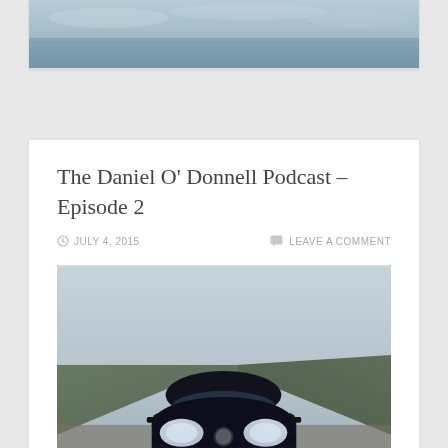[Figure (photo): Partial photograph of a seascape or coastal scene, showing water and sky, cropped at top of page]
The Daniel O' Donnell Podcast – Episode 2
JULY 4, 2015    LEAVE A COMMENT
[Figure (photo): A dark navy/black Peugeot 208 car parked on a narrow rural road with hills and overcast sky in background. The car has a yellow-green license plate reading 'The Daniel O' Donnell Podcast']